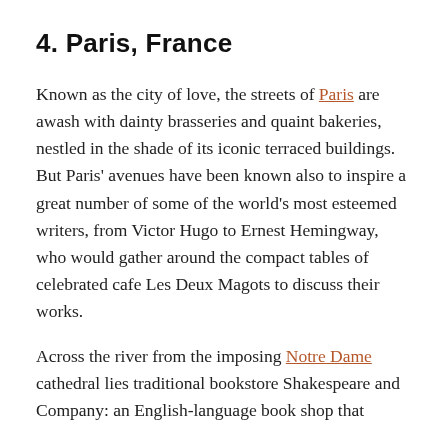4. Paris, France
Known as the city of love, the streets of Paris are awash with dainty brasseries and quaint bakeries, nestled in the shade of its iconic terraced buildings. But Paris' avenues have been known also to inspire a great number of some of the world's most esteemed writers, from Victor Hugo to Ernest Hemingway, who would gather around the compact tables of celebrated cafe Les Deux Magots to discuss their works.
Across the river from the imposing Notre Dame cathedral lies traditional bookstore Shakespeare and Company: an English-language book shop that